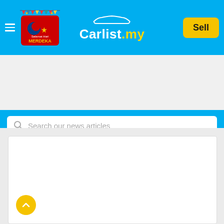[Figure (screenshot): Carlist.my website header with blue background, hamburger menu icon, Merdeka logo badge, Carlist.my brand logo with car silhouette, and yellow Sell button]
[Figure (screenshot): Search bar with placeholder text 'Search our news articles' on blue background]
Auto News | Insights | More
[Figure (screenshot): White content card area below navigation, mostly empty white box with a yellow back-to-top chevron button at the bottom left]